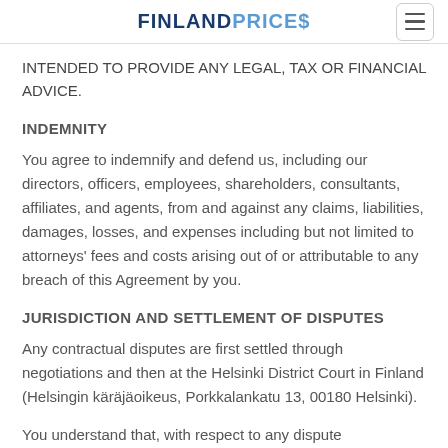FINLANDPRICES
INTENDED TO PROVIDE ANY LEGAL, TAX OR FINANCIAL ADVICE.
INDEMNITY
You agree to indemnify and defend us, including our directors, officers, employees, shareholders, consultants, affiliates, and agents, from and against any claims, liabilities, damages, losses, and expenses including but not limited to attorneys' fees and costs arising out of or attributable to any breach of this Agreement by you.
JURISDICTION AND SETTLEMENT OF DISPUTES
Any contractual disputes are first settled through negotiations and then at the Helsinki District Court in Finland (Helsingin käräjäoikeus, Porkkalankatu 13, 00180 Helsinki).
You understand that, with respect to any dispute